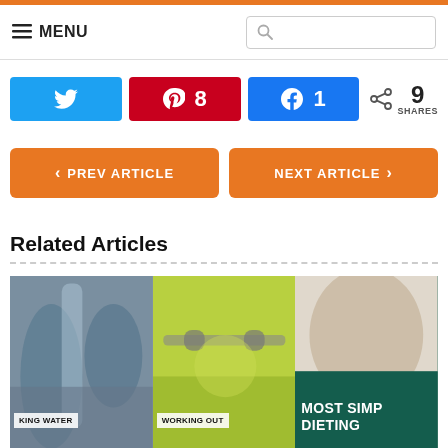≡ MENU [search bar]
Twitter share | Pinterest 8 | Facebook 1 | < 9 SHARES
< PREV ARTICLE | NEXT ARTICLE >
Related Articles
[Figure (photo): Three related article thumbnails: drinking water, working out, most simple dieting]